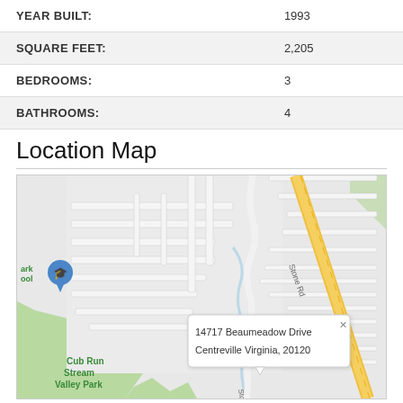| Property | Value |
| --- | --- |
| YEAR BUILT: | 1993 |
| SQUARE FEET: | 2,205 |
| BEDROOMS: | 3 |
| BATHROOMS: | 4 |
Location Map
[Figure (map): Street map showing location of 14717 Beaumeadow Drive, Centreville Virginia, 20120. Map shows surrounding neighborhood streets, Cub Run Stream Valley Park in green to the lower left, Stone Rd running diagonally, and a yellow highway. A map pin with school icon labeled 'ark ool' (partially visible) is on the left. An info popup shows the address: 14717 Beaumeadow Drive, Centreville Virginia, 20120.]